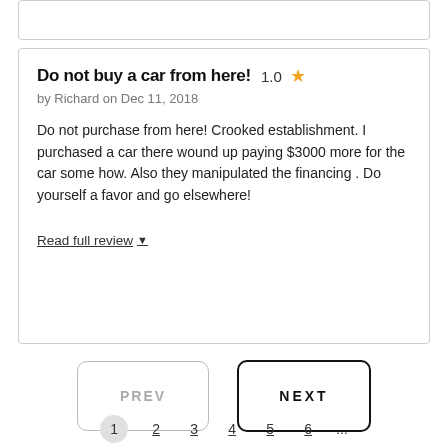Do not buy a car from here!  1.0 ★
by Richard on Dec 11, 2018
Do not purchase from here! Crooked establishment. I purchased a car there wound up paying $3000 more for the car some how. Also they manipulated the financing . Do yourself a favor and go elsewhere!
Read full review ▼
PREV
NEXT
1  2  3  4  5  6  ...